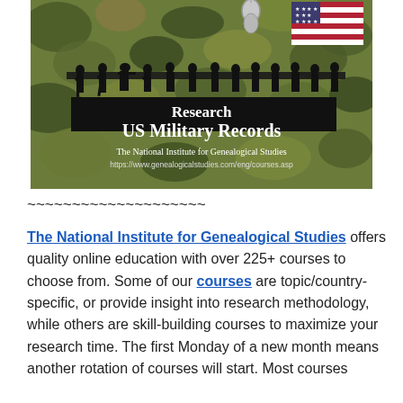[Figure (illustration): Military-themed graphic with camouflage background, silhouettes of soldiers marching, American flag, dog tags, black banner, and white text reading 'Research US Military Records'. Below the large text: 'The National Institute for Genealogical Studies' and 'https://www.genealogicalstudies.com/eng/courses.asp']
~~~~~~~~~~~~~~~~~~~~
The National Institute for Genealogical Studies offers quality online education with over 225+ courses to choose from. Some of our courses are topic/country-specific, or provide insight into research methodology, while others are skill-building courses to maximize your research time. The first Monday of a new month means another rotation of courses will start. Most courses